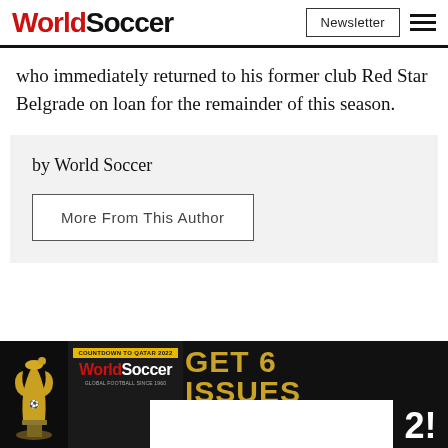World Soccer | Newsletter
who immediately returned to his former club Red Star Belgrade on loan for the remainder of this season.
by World Soccer
More From This Author
[Figure (infographic): World Soccer magazine subscription promotional banner: 'GET 6 ISSUES' with a World Cup trophy image and WorldSoccer magazine cover, with white box overlay and '2!' text]